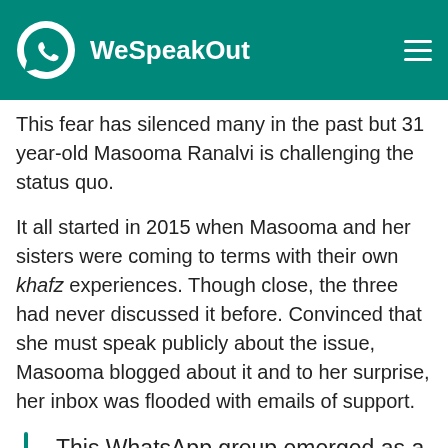WeSpeakOut
This fear has silenced many in the past but 31 year-old Masooma Ranalvi is challenging the status quo.
It all started in 2015 when Masooma and her sisters were coming to terms with their own khafz experiences. Though close, the three had never discussed it before. Convinced that she must speak publicly about the issue, Masooma blogged about it and to her surprise, her inbox was flooded with emails of support.
This WhatsApp group emerged as a safe and private space for all of them.